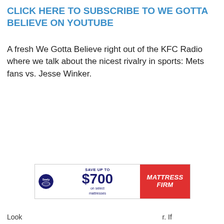CLICK HERE TO SUBSCRIBE TO WE GOTTA BELIEVE ON YOUTUBE
A fresh We Gotta Believe right out of the KFC Radio where we talk about the nicest rivalry in sports: Mets fans vs. Jesse Winker.
[Figure (other): Mattress Firm advertisement banner: Sealy logo, SAVE UP TO $700 on select mattresses, Mattress Firm logo on red background]
Look                                                          r. If